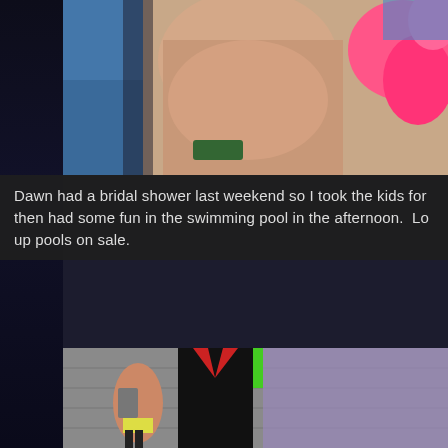[Figure (photo): Top portion of a photo showing people at a pool/water park setting with pink inflatable visible on the right]
Dawn had a bridal shower last weekend so I took the kids for then had some fun in the swimming pool in the afternoon.  Lo up pools on sale.
[Figure (photo): Bottom portion of a photo showing a woman with a backpack and a small child climbing on a dark wall/climbing structure inside an indoor recreation facility with green and purple elements visible]